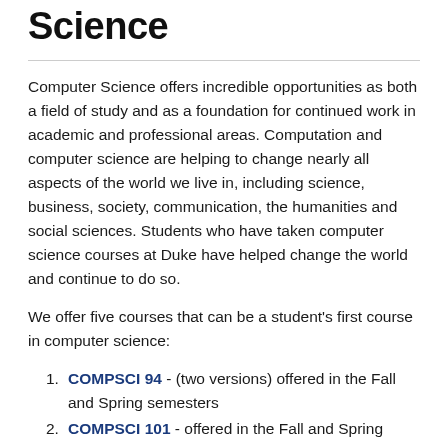Science
Computer Science offers incredible opportunities as both a field of study and as a foundation for continued work in academic and professional areas. Computation and computer science are helping to change nearly all aspects of the world we live in, including science, business, society, communication, the humanities and social sciences. Students who have taken computer science courses at Duke have helped change the world and continue to do so.
We offer five courses that can be a student's first course in computer science:
COMPSCI 94 - (two versions) offered in the Fall and Spring semesters
COMPSCI 101 - offered in the Fall and Spring